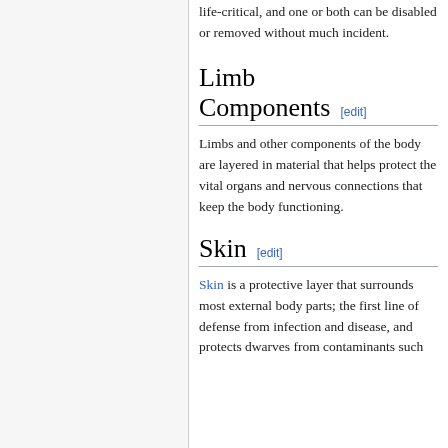life-critical, and one or both can be disabled or removed without much incident.
Limb Components [edit]
Limbs and other components of the body are layered in material that helps protect the vital organs and nervous connections that keep the body functioning.
Skin [edit]
Skin is a protective layer that surrounds most external body parts; the first line of defense from infection and disease, and protects dwarves from contaminants such